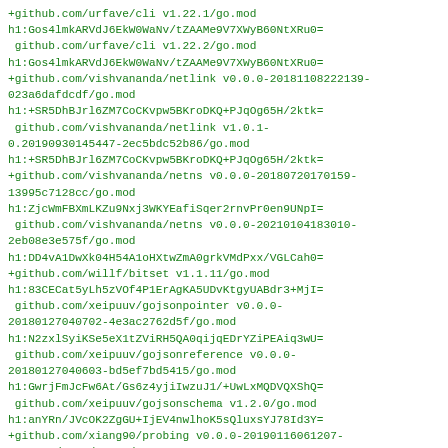+github.com/urfave/cli v1.22.1/go.mod
h1:Gos4lmkARVdJ6EkW0WaNv/tZAAMe9V7XWyB60NtXRu0=
 github.com/urfave/cli v1.22.2/go.mod
h1:Gos4lmkARVdJ6EkW0WaNv/tZAAMe9V7XWyB60NtXRu0=
+github.com/vishvananda/netlink v0.0.0-20181108222139-023a6dafdcdf/go.mod
h1:+SR5DhBJrl6ZM7CoCKvpw5BKroDKQ+PJqOg65H/2ktk=
 github.com/vishvananda/netlink v1.0.1-0.20190930145447-2ec5bdc52b86/go.mod
h1:+SR5DhBJrl6ZM7CoCKvpw5BKroDKQ+PJqOg65H/2ktk=
+github.com/vishvananda/netns v0.0.0-20180720170159-13995c7128cc/go.mod
h1:ZjcWmFBXmLKZu9Nxj3WKYEafiSqer2rnvPr0en9UNpI=
 github.com/vishvananda/netns v0.0.0-20210104183010-2eb08e3e575f/go.mod
h1:DD4vA1DwXk04H54A1oHXtwZmA0grkVMdPxx/VGLCah0=
+github.com/willf/bitset v1.1.11/go.mod
h1:83CECat5yLh5zVOf4P1ErAgKA5UDvKtgyUABdr3+MjI=
 github.com/xeipuuv/gojsonpointer v0.0.0-20180127040702-4e3ac2762d5f/go.mod
h1:N2zxlSyiKSe5eX1tZViRH5QA0qijqEDrYZiPEAiq3wU=
 github.com/xeipuuv/gojsonreference v0.0.0-20180127040603-bd5ef7bd5415/go.mod
h1:GwrjFmJcFw6At/Gs6z4yjiIwzuJ1/+UwLxMQDVQXShQ=
 github.com/xeipuuv/gojsonschema v1.2.0/go.mod
h1:anYRn/JVcOK2ZgGU+IjEV4nwlhoK5sQluxsYJ78Id3Y=
+github.com/xiang90/probing v0.0.0-20190116061207-43a291ad63a2/go.mod
h1:UETIi67q53MR2AWcXfiuqkDkRtnGDLqkBTpCHuJHxtU=
+github.com/xordataexchange/crypt v0.0.3-